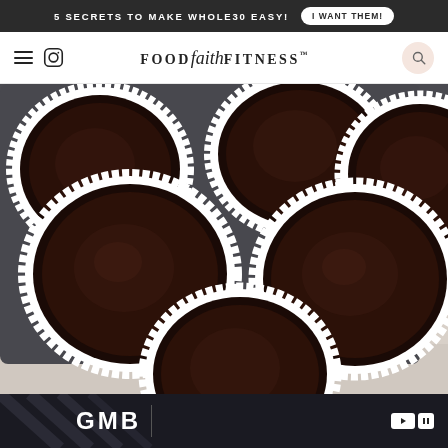5 SECRETS TO MAKE WHOLE30 EASY! | I WANT THEM!
FOOD faith FITNESS™
[Figure (photo): Overhead close-up photo of chocolate cups in white scalloped paper liners sitting in a dark muffin tin on a white marble surface. Five chocolate cups are visible, filled with smooth dark chocolate. The cups are arranged in a 2x3 pattern partially cropped.]
[Figure (screenshot): Partial advertisement banner at the bottom with dark background showing partial logo text 'GMB' or similar with a white arrow/play button icon on the right.]